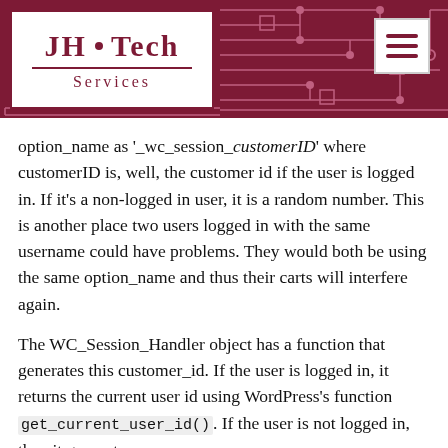JH Tech Services
option_name as '_wc_session_customerID' where customerID is, well, the customer id if the user is logged in. If it's a non-logged in user, it is a random number. This is another place two users logged in with the same username could have problems. They would both be using the same option_name and thus their carts will interfere again.
The WC_Session_Handler object has a function that generates this customer_id. If the user is logged in, it returns the current user id using WordPress's function get_current_user_id(). If the user is not logged in, then it generates a random number. What we need is for this